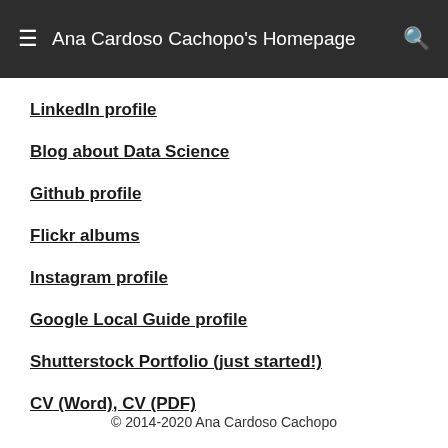Ana Cardoso Cachopo's Homepage
LinkedIn profile
Blog about Data Science
Github profile
Flickr albums
Instagram profile
Google Local Guide profile
Shutterstock Portfolio (just started!)
CV (Word), CV (PDF)
© 2014-2020 Ana Cardoso Cachopo